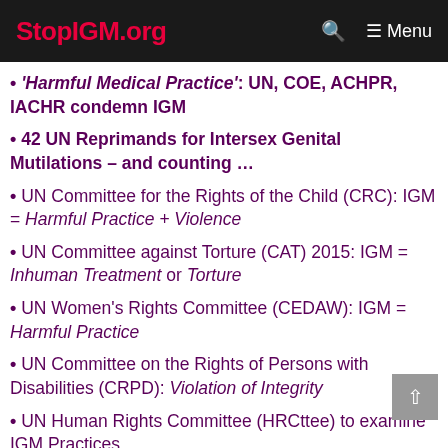StopIGM.org  Menu
'Harmful Medical Practice': UN, COE, ACHPR, IACHR condemn IGM
42 UN Reprimands for Intersex Genital Mutilations – and counting …
UN Committee for the Rights of the Child (CRC): IGM = Harmful Practice + Violence
UN Committee against Torture (CAT) 2015: IGM = Inhuman Treatment or Torture
UN Women's Rights Committee (CEDAW): IGM = Harmful Practice
UN Committee on the Rights of Persons with Disabilities (CRPD): Violation of Integrity
UN Human Rights Committee (HRCttee) to examine IGM Practices
CAT 2011: Germany must investigate IGM